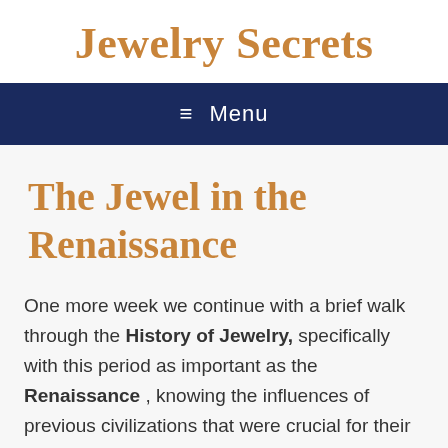Jewelry Secrets
☰  Menu
The Jewel in the Renaissance
One more week we continue with a brief walk through the History of Jewelry, specifically with this period as important as the Renaissance , knowing the influences of previous civilizations that were crucial for their development. Expanding knowledge of